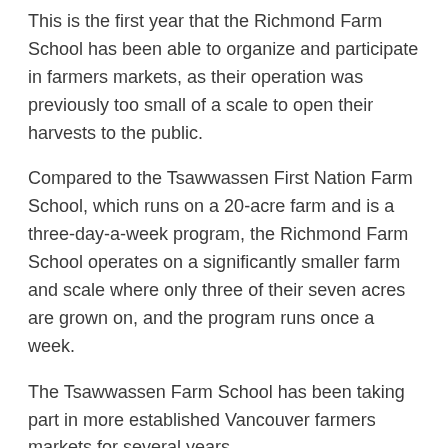This is the first year that the Richmond Farm School has been able to organize and participate in farmers markets, as their operation was previously too small of a scale to open their harvests to the public.
Compared to the Tsawwassen First Nation Farm School, which runs on a 20-acre farm and is a three-day-a-week program, the Richmond Farm School operates on a significantly smaller farm and scale where only three of their seven acres are grown on, and the program runs once a week.
The Tsawwassen Farm School has been taking part in more established Vancouver farmers markets for several years.
The Richmond Farm School will be hosting their pop-up